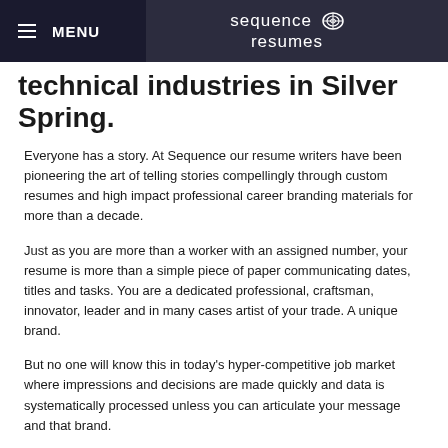MENU | sequence resumes
technical industries in Silver Spring.
Everyone has a story. At Sequence our resume writers have been pioneering the art of telling stories compellingly through custom resumes and high impact professional career branding materials for more than a decade.
Just as you are more than a worker with an assigned number, your resume is more than a simple piece of paper communicating dates, titles and tasks. You are a dedicated professional, craftsman, innovator, leader and in many cases artist of your trade. A unique brand.
But no one will know this in today's hyper-competitive job market where impressions and decisions are made quickly and data is systematically processed unless you can articulate your message and that brand.